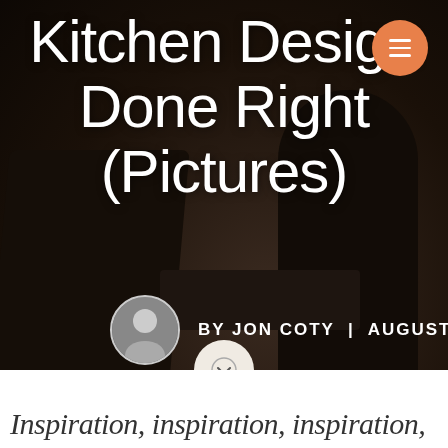[Figure (photo): Dark kitchen interior background image with silhouettes of bar stools and cabinetry, with an orange hamburger menu button in the top right corner]
Kitchen Design Done Right (Pictures)
BY JON COTY | AUGUST 17, 2021
Inspiration, inspiration, inspiration,